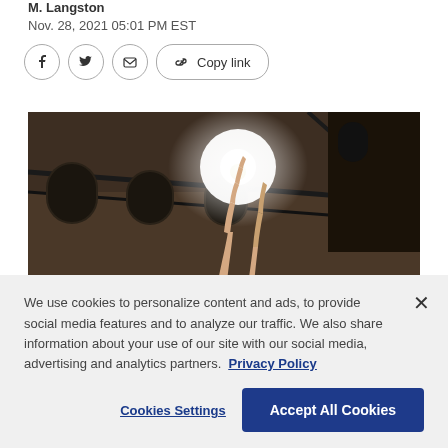M. Langston
Nov. 28, 2021 05:01 PM EST
[Figure (other): Social share buttons: Facebook, Twitter, Email, and Copy link button]
[Figure (photo): A person raising both hands up toward a bright light in a gymnasium with arched windows and metal framework on the ceiling.]
We use cookies to personalize content and ads, to provide social media features and to analyze our traffic. We also share information about your use of our site with our social media, advertising and analytics partners. Privacy Policy
Cookies Settings
Accept All Cookies